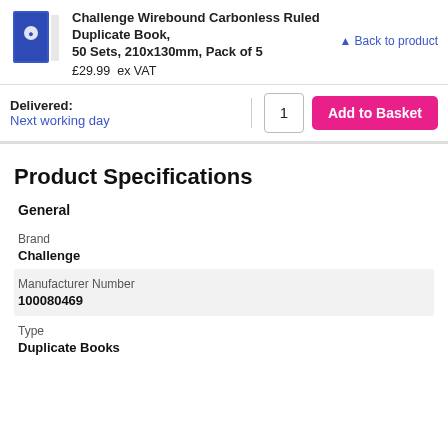Challenge Wirebound Carbonless Ruled Duplicate Book, 50 Sets, 210x130mm, Pack of 5
£29.99 ex VAT
Back to product
Delivered:
Next working day
1
Add to Basket
Product Specifications
General
| Brand | Challenge |
| Manufacturer Number | 100080469 |
| Type | Duplicate Books |